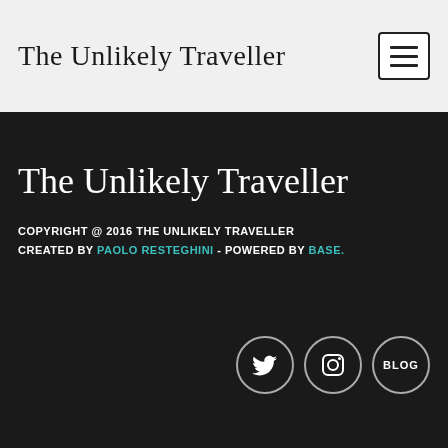The Unlikely Traveller
The Unlikely Traveller
COPYRIGHT @ 2016 THE UNLIKELY TRAVELLER
CREATED BY PAOLO RESTEGHINI - POWERED BY BASE.
[Figure (illustration): Three circular social media icons: Twitter bird icon, Instagram camera icon, and BLOG text icon, all with white outlines on dark background]